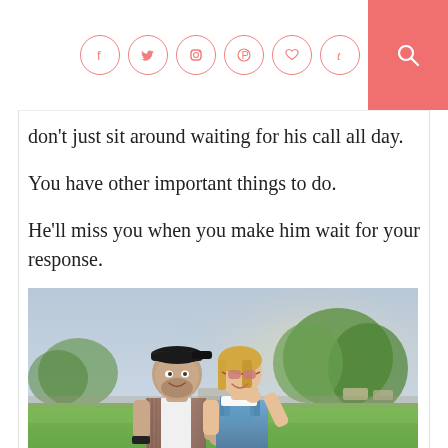Social media icons: Facebook, Twitter, Instagram, Pinterest, Heart, Tumblr; Search button
don't just sit around waiting for his call all day.
You have other important things to do.
He'll miss you when you make him wait for your response.
[Figure (photo): A young couple outdoors on a sunny day. A man wearing a backwards cap and plaid shirt stands next to a woman in a denim overall dress, both smiling, with green grass and trees in the background.]